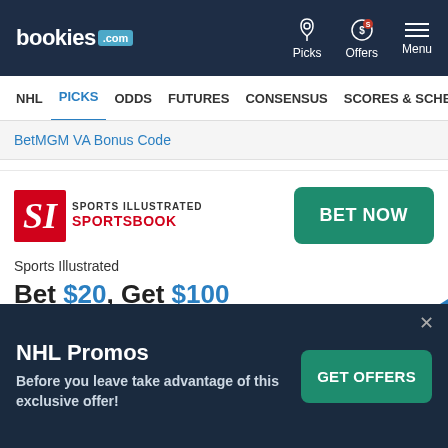[Figure (screenshot): bookies.com website header with logo and navigation icons for Picks, Offers, and Menu]
bookies .com | Picks | Offers | Menu
NHL
PICKS
ODDS
FUTURES
CONSENSUS
SCORES & SCHEDULE
BetMGM VA Bonus Code
[Figure (logo): Sports Illustrated Sportsbook logo — red SI block with SPORTS ILLUSTRATED SPORTSBOOK text]
BET NOW
Sports Illustrated
Bet $20, Get $100
Sports Illustrated Promo Code
NHL Promos
Before you leave take advantage of this exclusive offer!
GET OFFERS